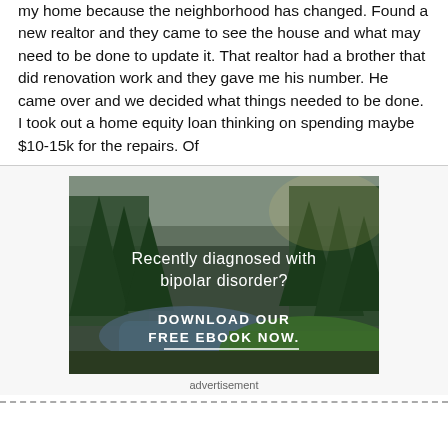my home because the neighborhood has changed. Found a new realtor and they came to see the house and what may need to be done to update it. That realtor had a brother that did renovation work and they gave me his number. He came over and we decided what things needed to be done. I took out a home equity loan thinking on spending maybe $10-15k for the repairs. Of
[Figure (photo): Forest and river landscape advertisement image with text overlay: 'Recently diagnosed with bipolar disorder? DOWNLOAD OUR FREE EBOOK NOW.' with a white underline beneath the call to action.]
advertisement